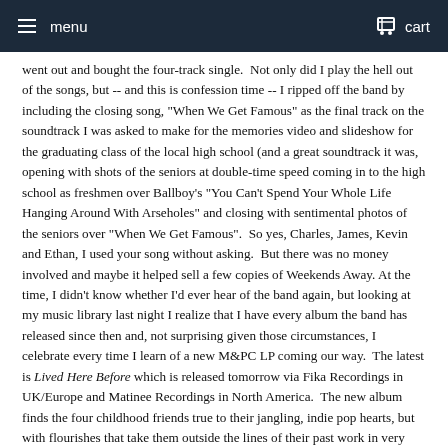menu  cart
went out and bought the four-track single.  Not only did I play the hell out of the songs, but -- and this is confession time -- I ripped off the band by including the closing song, "When We Get Famous" as the final track on the soundtrack I was asked to make for the memories video and slideshow for the graduating class of the local high school (and a great soundtrack it was, opening with shots of the seniors at double-time speed coming in to the high school as freshmen over Ballboy's "You Can't Spend Your Whole Life Hanging Around With Arseholes" and closing with sentimental photos of the seniors over "When We Get Famous".  So yes, Charles, James, Kevin and Ethan, I used your song without asking.  But there was no money involved and maybe it helped sell a few copies of Weekends Away. At the time, I didn't know whether I'd ever hear of the band again, but looking at my music library last night I realize that I have every album the band has released since then and, not surprising given those circumstances, I celebrate every time I learn of a new M&PC LP coming our way.  The latest is Lived Here Before which is released tomorrow via Fika Recordings in UK/Europe and Matinee Recordings in North America.  The new album finds the four childhood friends true to their jangling, indie pop hearts, but with flourishes that take them outside the lines of their past work in very